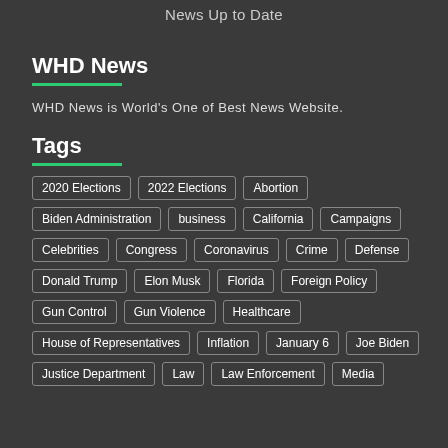News Up to Date
WHD News
WHD News is World's One of Best News Website.
Tags
2020 Elections
2022 Elections
Abortion
Biden Administration
business
California
Campaigns
Celebrities
Congress
Coronavirus
Crime
Defense
Donald Trump
Elon Musk
Florida
Foreign Policy
Gun Control
Gun Violence
Healthcare
House of Representatives
Inflation
January 6
Joe Biden
Justice Department
Law
Law Enforcement
Media